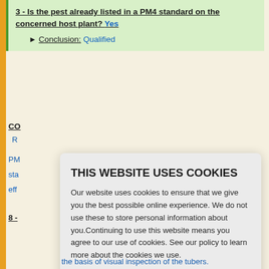3 - Is the pest already listed in a PM4 standard on the concerned host plant? Yes ▶ Conclusion: Qualified
CO
R
PM
sta
eff
8 -
THIS WEBSITE USES COOKIES
Our website uses cookies to ensure that we give you the best possible online experience. We do not use these to store personal information about you.Continuing to use this website means you agree to our use of cookies. See our policy to learn more about the cookies we use.
Learn more
Accept
the basis of visual inspection of the tubers.